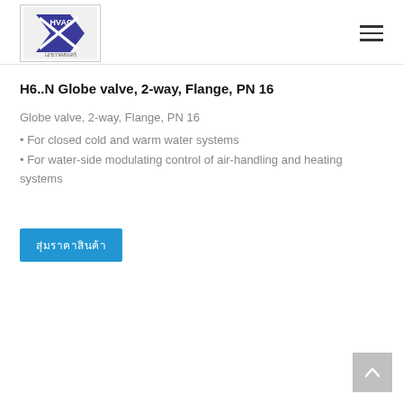HVAC² เอชวาคสแคร์ [logo] [hamburger menu]
H6..N Globe valve, 2-way, Flange, PN 16
Globe valve, 2-way, Flange, PN 16
• For closed cold and warm water systems
• For water-side modulating control of air-handling and heating systems
[button: Thai text]